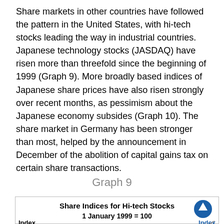Share markets in other countries have followed the pattern in the United States, with hi-tech stocks leading the way in industrial countries. Japanese technology stocks (JASDAQ) have risen more than threefold since the beginning of 1999 (Graph 9). More broadly based indices of Japanese share prices have also risen strongly over recent months, as pessimism about the Japanese economy subsides (Graph 10). The share market in Germany has been stronger than most, helped by the announcement in December of the abolition of capital gains tax on certain share transactions.
Graph 9
[Figure (continuous-plot): Chart showing share indices for hi-tech stocks with 1 January 1999 = 100 as base. Y-axis labeled 'Index' on left. Partial chart visible at bottom of page.]